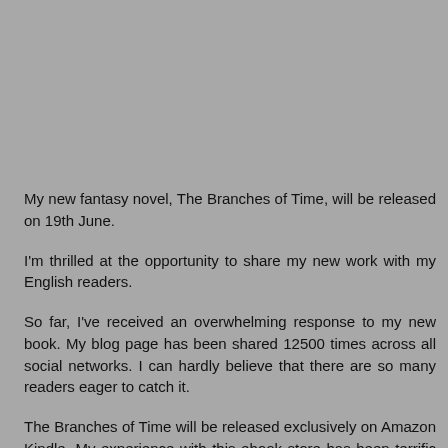My new fantasy novel, The Branches of Time, will be released on 19th June.
I'm thrilled at the opportunity to share my new work with my English readers.
So far, I've received an overwhelming response to my new book. My blog page has been shared 12500 times across all social networks. I can hardly believe that there are so many readers eager to catch it.
The Branches of Time will be released exclusively on Amazon Kindle. My experience with this ebook store has been terrific in the last eleven months. My first book, Galactic Energies, had an amazing response, with thousands of sales and more than 140 reviews on Amazon.com alone.